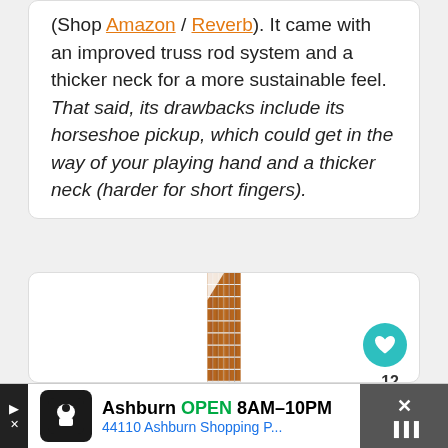(Shop Amazon / Reverb). It came with an improved truss rod system and a thicker neck for a more sustainable feel. That said, its drawbacks include its horseshoe pickup, which could get in the way of your playing hand and a thicker neck (harder for short fingers).
[Figure (photo): Close-up photo of a guitar or bass fretboard showing wooden rosewood frets with white fret markers, viewed from above.]
Ashburn OPEN 8AM–10PM | 44110 Ashburn Shopping P...